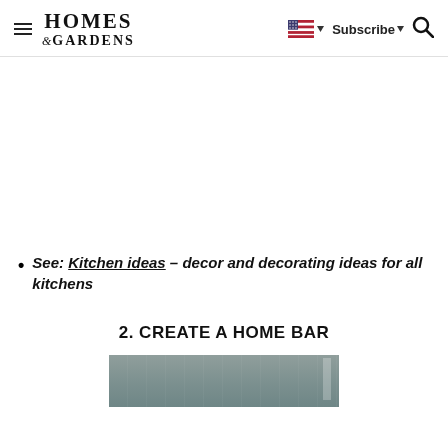Homes & Gardens — Subscribe | Search | US flag
See: Kitchen ideas – decor and decorating ideas for all kitchens
2. CREATE A HOME BAR
[Figure (photo): Partial image of a home bar area, cropped at the bottom of the page]